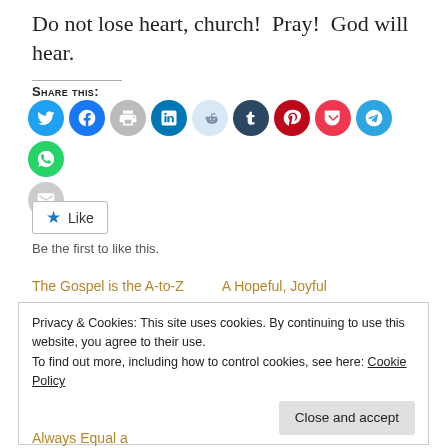Do not lose heart, church!  Pray!  God will hear.
Share this:
[Figure (infographic): Row of social sharing icon buttons: Twitter (blue), Facebook (blue), Print (gray), LinkedIn (teal), Reddit (light blue/gray), Tumblr (dark navy), Pinterest (crimson), Pocket (red), Telegram (blue), WhatsApp (green), Email (gray)]
Like
Be the first to like this.
The Gospel is the A-to-Z    A Hopeful, Joyful
Privacy & Cookies: This site uses cookies. By continuing to use this website, you agree to their use.
To find out more, including how to control cookies, see here: Cookie Policy
Close and accept
Always Equal a